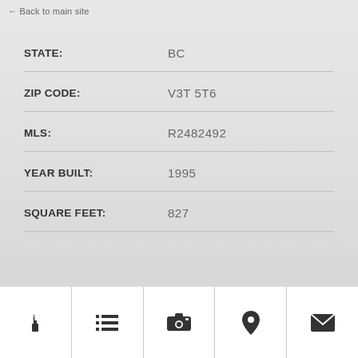← Back to main site
| Field | Value |
| --- | --- |
| STATE: | BC |
| ZIP CODE: | V3T 5T6 |
| MLS: | R2482492 |
| YEAR BUILT: | 1995 |
| SQUARE FEET: | 827 |
[Figure (other): Bottom navigation bar with five icons: info (i), list/menu, camera, location pin, and envelope/mail]